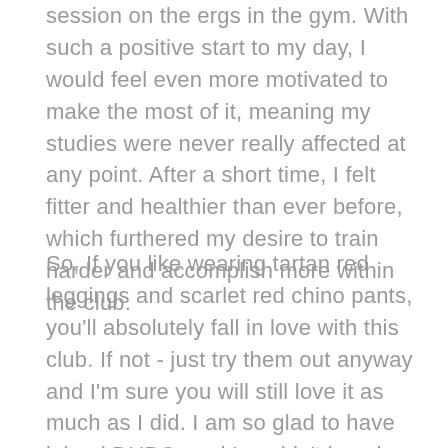session on the ergs in the gym. With such a positive start to my day, I would feel even more motivated to make the most of it, meaning my studies were never really affected at any point. After a short time, I felt fitter and healthier than ever before, which furthered my desire to train harder and accomplish more within the club.
So, If you like wearing tartan red leggings and scarlet red chino pants, you'll absolutely fall in love with this club. If not - just try them out anyway and I'm sure you will still love it as much as I did. I am so glad to have joined DUBC, and I couldn't imagine my experience studying in Dundee without the club taking me in as one of their own. Now the Penguin in me is desperate to join a new boat club back